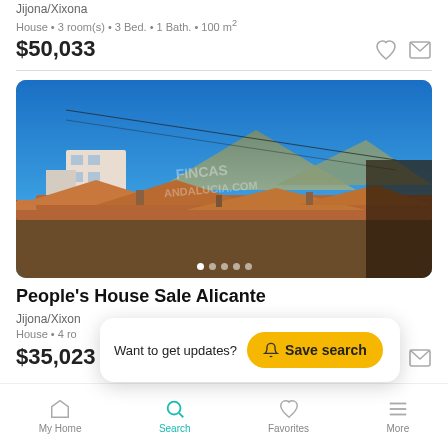Jijona/Xixona
House • 3 room(s) • 3 Bed. • 1 Bath. • 100 m²
$50,033
[Figure (photo): Rooftop view of Alicante town with terracotta tile roofs, white buildings, mountains and blue sky in background. Watermark reads FINCAS ANDALUCIA.COM]
People's House Sale Alicante
Jijona/Xixon
House • 4 ro
$35,023
Want to get updates?
Save search
My Home   Search   Favorites   More